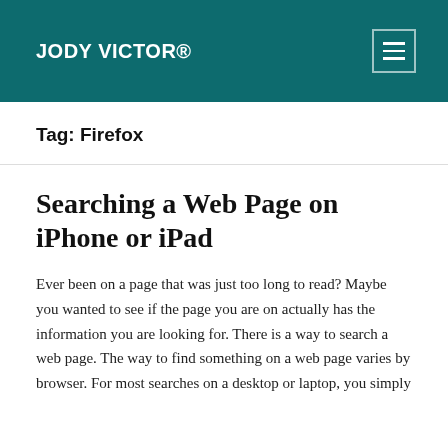JODY VICTOR®
Tag: Firefox
Searching a Web Page on iPhone or iPad
Ever been on a page that was just too long to read? Maybe you wanted to see if the page you are on actually has the information you are looking for. There is a way to search a web page. The way to find something on a web page varies by browser. For most searches on a desktop or laptop, you simply